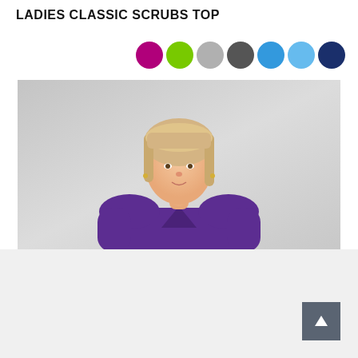LADIES CLASSIC SCRUBS TOP
[Figure (illustration): Seven color swatches as circles: purple/magenta, lime green, light grey, dark grey, medium blue, light blue, navy blue]
[Figure (photo): A woman with blonde hair wearing a purple V-neck scrubs top, photographed from the waist up against a light grey background]
[Figure (other): Scroll-to-top button with upward arrow, dark grey square button in the bottom right corner]